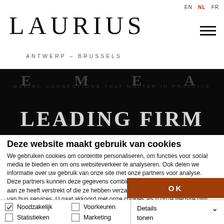EN  NL  FR
LAURIUS
ANTWERP – BRUSSELS
[Figure (photo): Dark background hero image with large bold serif text reading 'LEADING FIRM' in light/white lettering, and above it partially visible large letters]
Deze website maakt gebruik van cookies
We gebruiken cookies om contentte personaliseren, om functies voor social media te bieden en om ons websiteverkeer te analyseren. Ook delen we informatie over uw gebruik van onze site met onze partners voor analyse. Deze partners kunnen deze gegevens combineren met andere informatie die u aan ze heeft verstrekt of die ze hebben verzameld op basis van uw gebruik van hun services. U gaat akkoord met onze cookies als u onze website blijft gebruiken.
OK
Noodzakelijk  Voorkeuren  Details tonen
Statistieken  Marketing